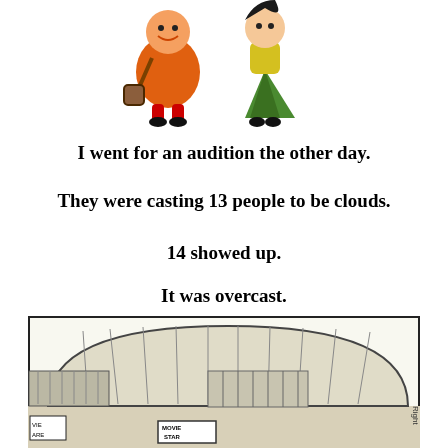[Figure (illustration): Two cartoon characters at the top: a stout orange-clad person with a bag on the left, and a woman in a green skirt and yellow top on the right.]
I went for an audition the other day.
They were casting 13 people to be clouds.
14 showed up.
It was overcast.
[Figure (illustration): A black and white cartoon drawing of a movie studio building with a sign reading 'MOVIE STAR' at the bottom, and 'Right' text visible on the right side.]